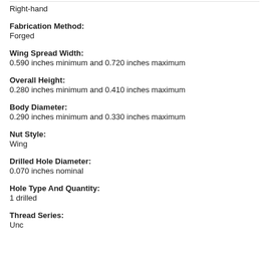Right-hand
Fabrication Method:
Forged
Wing Spread Width:
0.590 inches minimum and 0.720 inches maximum
Overall Height:
0.280 inches minimum and 0.410 inches maximum
Body Diameter:
0.290 inches minimum and 0.330 inches maximum
Nut Style:
Wing
Drilled Hole Diameter:
0.070 inches nominal
Hole Type And Quantity:
1 drilled
Thread Series:
Unc